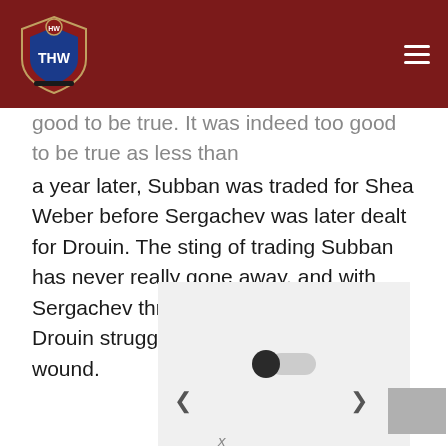THW
good to be true. It was indeed too good to be true as less than a year later, Subban was traded for Shea Weber before Sergachev was later dealt for Drouin. The sting of trading Subban has never really gone away, and with Sergachev thriving in Tampa Bay and Drouin struggling, it's extra salt in the wound.
[Figure (photo): Image placeholder with loading toggle icon, navigation arrows left and right, and a thumbnail box]